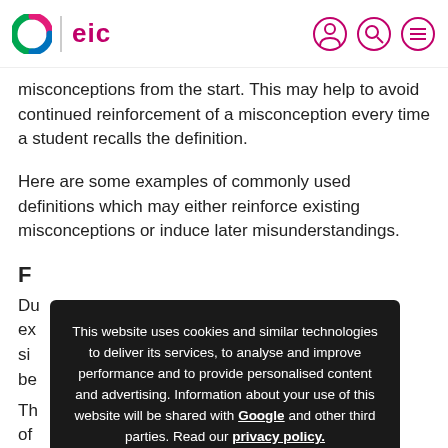C | eic
misconceptions from the start. This may help to avoid continued reinforcement of a misconception every time a student recalls the definition.
Here are some examples of commonly used definitions which may either reinforce existing misconceptions or induce later misunderstandings.
F
Du... ex... si... h be...
Th... se of...
This website uses cookies and similar technologies to deliver its services, to analyse and improve performance and to provide personalised content and advertising. Information about your use of this website will be shared with Google and other third parties. Read our privacy policy.
OK